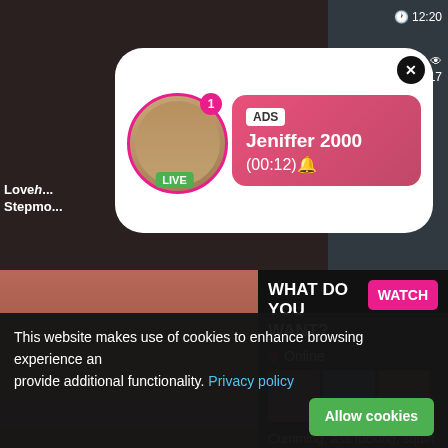[Figure (screenshot): Adult video website screenshot with popup notification, ads, and cookie consent banner]
ADS
Jeniffer 2000
(00:12)🔔
LIVE
Love... Stepmo...
WHAT DO YOU WANT?
Online
WATCH
Cumming, ass fucking, squirt or...
• ADS
bashful Italianka being deflowered
72%  1 353
BLACKED big black cock
69%  954
🕐 12:20
77%  1 417
🕐 12:27
This website makes use of cookies to enhance browsing experience and provide additional functionality.  Privacy policy
Allow cookies